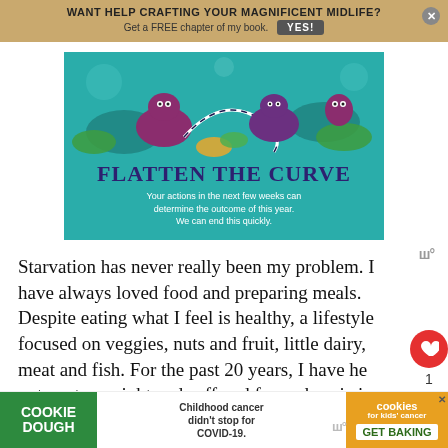WANT HELP CRAFTING YOUR MAGNIFICENT MIDLIFE? Get a FREE chapter of my book. YES!
[Figure (illustration): Teal background illustration with lemurs and wildlife, text reading FLATTEN THE CURVE. Your actions in the next few weeks can determine the outcome of this year. We can end this quickly.]
Starvation has never really been my problem. I have always loved food and preparing meals. Despite eating what I feel is healthy, a lifestyle focused on veggies, nuts and fruit, little dairy, meat and fish. For the past 20 years, I have held onto extra weight and suffered from chronic inflammation.
[Figure (infographic): Cookie Dough ad - Childhood cancer didn't stop for COVID-19. GET BAKING. cookies for kids cancer logo.]